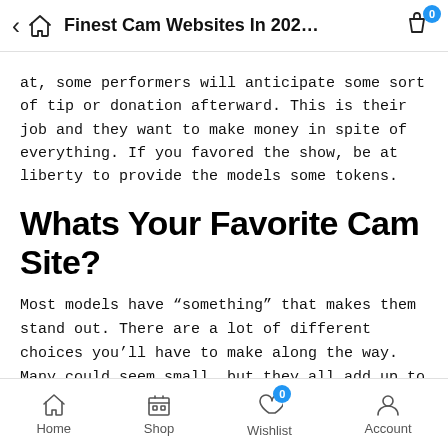Finest Cam Websites In 202...
at, some performers will anticipate some sort of tip or donation afterward. This is their job and they want to make money in spite of everything. If you favored the show, be at liberty to provide the models some tokens.
Whats Your Favorite Cam Site?
Most models have “something” that makes them stand out. There are a lot of different choices you’ll have to make along the way. Many could seem small, but they all add up to make a big difference ultimately. However, you may make some good aspect cash while sporting a mask or maintaining your face out of frame. Men and couples make about half of what girls and trans performers will, but they’ll still simply top $30 per hour. Much of the disparity might be attributed to the fact that
Home  Shop  Wishlist  Account